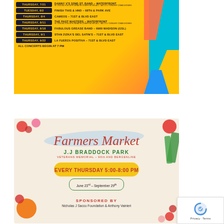[Figure (infographic): Concert schedule poster with dark date badges on yellow/orange background. Lists dates and venues for summer concerts.]
[Figure (infographic): Farmers Market advertisement for J.J Braddock Park, Veterans Memorial - 90th and Bergenline. Every Thursday 5:00-8:00 PM, June 23rd - September 29th. Sponsored by Nicholas J Sacco Foundation & Anthony Vainieri. Cream background with illustrated vegetables border.]